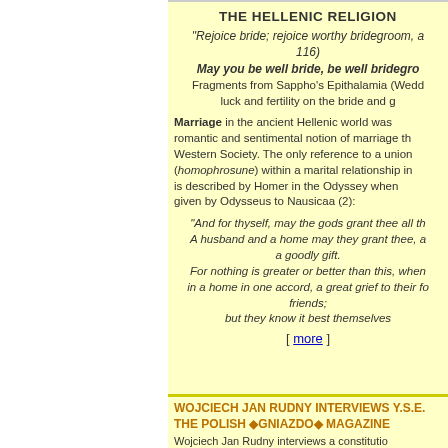THE HELLENIC RELIGION
"Rejoice bride; rejoice worthy bridegroom, 116)
May you be well bride, be well bridegro...
Fragments from Sappho's Epithalamia (Wedd... luck and fertility on the bride and g...
Marriage in the ancient Hellenic world was... romantic and sentimental notion of marriage th... Western Society. The only reference to a union (homophrosune) within a marital relationship in... is described by Homer in the Odyssey when... given by Odysseus to Nausicaa (2):
"And for thyself, may the gods grant thee all th... A husband and a home may they grant thee, a... a goodly gift. For nothing is greater or better than this, when... in a home in one accord, a great grief to their fo... friends; but they know it best themselves
[ more ]
WOJCIECH JAN RUDNY INTERVIEWS Y.S.E. THE POLISH GNIAZDO MAGAZINE
Wojciech Jan Rudny interviews a constitutio...